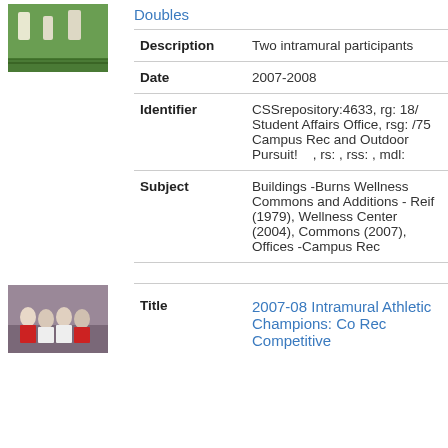[Figure (photo): Small thumbnail photo of people playing on a green court/field, top-left]
Doubles
| Field | Value |
| --- | --- |
| Description | Two intramural participants |
| Date | 2007-2008 |
| Identifier | CSSrepository:4633, rg: 18/ Student Affairs Office, rsg: /75 Campus Rec and Outdoor Pursuit!    , rs: , rss: , mdl: |
| Subject | Buildings -Burns Wellness Commons and Additions - Reif (1979), Wellness Center (2004), Commons (2007), Offices -Campus Rec |
[Figure (photo): Small thumbnail photo of a group of people posing, bottom-left]
2007-08 Intramural Athletic Champions: Co Rec Competitive